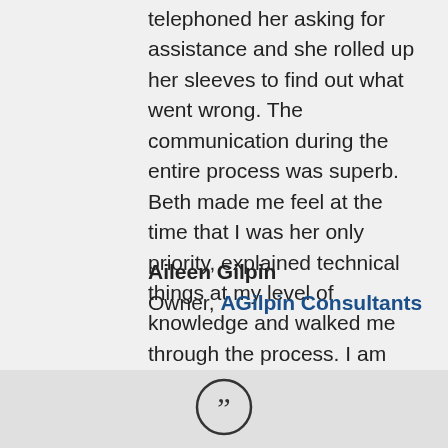telephoned her asking for assistance and she rolled up her sleeves to find out what went wrong. The communication during the entire process was superb. Beth made me feel at the time that I was her only priority, explained technical things at my level of knowledge and walked me through the process. I am confident in Bannor and Bannor technical skill set and I highly recommend them for web support or design for your business!
Aileen Gilpin
Owner, AGilpin Consultants
[Figure (illustration): Closing quotation mark icon (double quote symbol) in a circle outline at the bottom of the page]